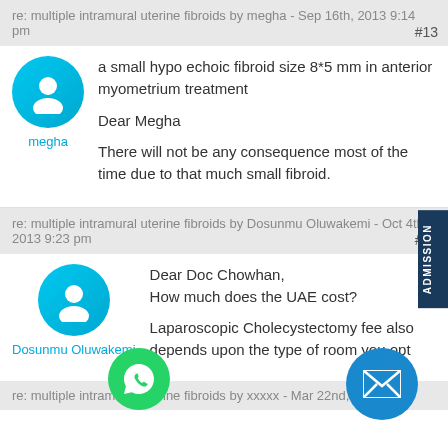re: multiple intramural uterine fibroids by megha - Sep 16th, 2013 9:14 pm #13
a small hypo echoic fibroid size 8*5 mm in anterior myometrium treatment

Dear Megha

There will not be any consequence most of the time due to that much small fibroid.
re: multiple intramural uterine fibroids by Dosunmu Oluwakemi - Oct 4th, 2013 9:23 pm #14
Dear Doc Chowhan,
How much does the UAE cost?

Laparoscopic Cholecystectomy fee also depends upon the type of room you opt
re: multiple intramural uterine fibroids by xxxxx - Mar 22nd, 2014 10:4x